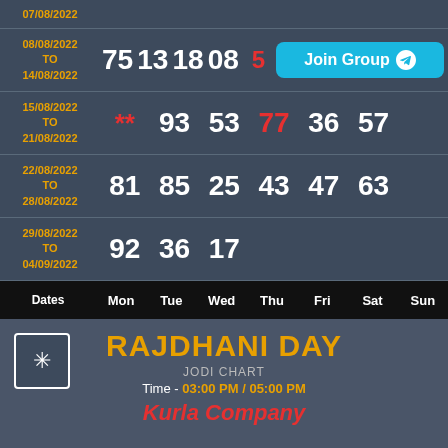| Dates | Mon | Tue | Wed | Thu | Fri | Sat | Sun |
| --- | --- | --- | --- | --- | --- | --- | --- |
| 07/08/2022 |  |  |  |  |  |  |  |
| 08/08/2022 TO 14/08/2022 | 75 | 13 | 18 | 08 | 5* | 51 |
| 15/08/2022 TO 21/08/2022 | ** | 93 | 53 | 77 | 36 | 57 |
| 22/08/2022 TO 28/08/2022 | 81 | 85 | 25 | 43 | 47 | 63 |
| 29/08/2022 TO 04/09/2022 | 92 | 36 | 17 |  |  |  |  |
RAJDHANI DAY
JODI CHART
Time - 03:00 PM / 05:00 PM
Kurla Company